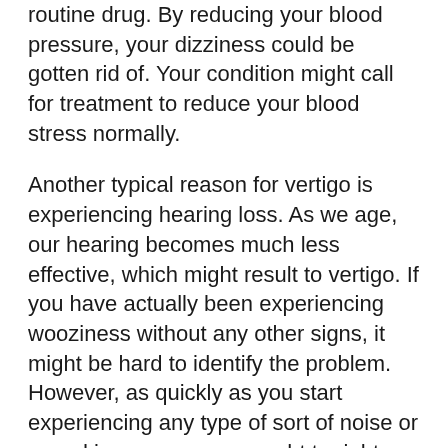routine drug. By reducing your blood pressure, your dizziness could be gotten rid of. Your condition might call for treatment to reduce your blood stress normally.
Another typical reason for vertigo is experiencing hearing loss. As we age, our hearing becomes much less effective, which might result to vertigo. If you have actually been experiencing wooziness without any other signs, it might be hard to identify the problem. However, as quickly as you start experiencing any type of sort of noise or sound in your ear, you ought to right away contact your doctor.
Some symptoms that might suggest the presence of a vestibular migraine consist of: